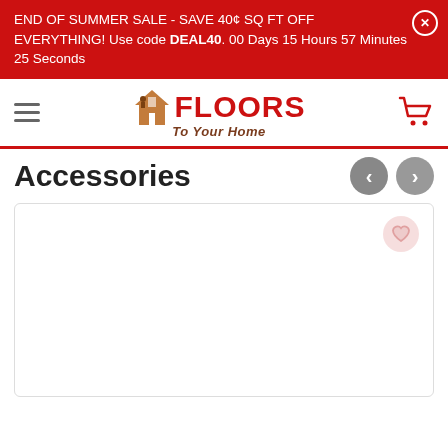END OF SUMMER SALE - SAVE 40¢ SQ FT OFF EVERYTHING! Use code DEAL40. 00 Days 15 Hours 57 Minutes 25 Seconds
[Figure (logo): Floors To Your Home logo with house icon]
Accessories
[Figure (photo): Product card placeholder, empty white card with wishlist heart button]